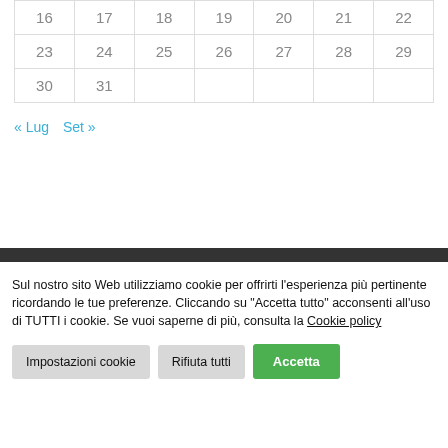| 16 | 17 | 18 | 19 | 20 | 21 | 22 |
| 23 | 24 | 25 | 26 | 27 | 28 | 29 |
| 30 | 31 |  |  |  |  |  |
« Lug   Set »
Sul nostro sito Web utilizziamo cookie per offrirti l'esperienza più pertinente ricordando le tue preferenze. Cliccando su "Accetta tutto" acconsenti all'uso di TUTTI i cookie. Se vuoi saperne di più, consulta la Cookie policy